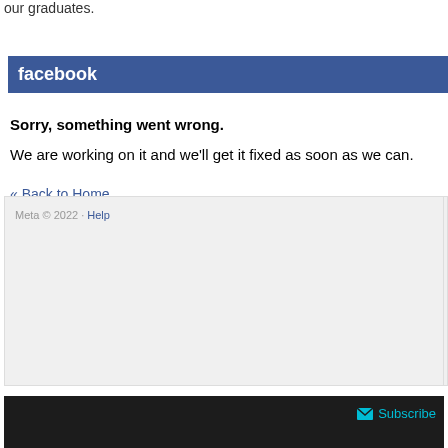our graduates.
[Figure (screenshot): Facebook error page screenshot showing blue Facebook header bar, error message 'Sorry, something went wrong.', body text 'We are working on it and we'll get it fixed as soon as we can.', a '« Back to Home' link, a footer box with 'Meta © 2022 · Help', and a dark bar at the bottom with a Subscribe button.]
Meta © 2022 · Help
Subscribe